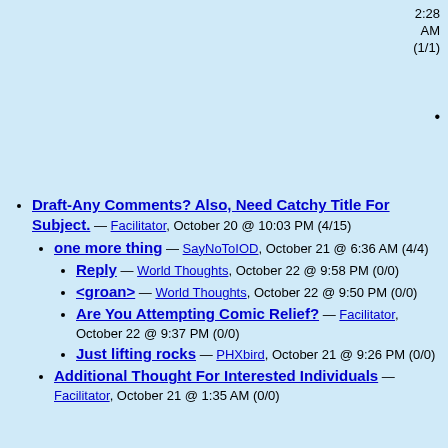2:28 AM (1/1)
bullet point (top right area)
Draft-Any Comments? Also, Need Catchy Title For Subject. — Facilitator, October 20 @ 10:03 PM (4/15)
one more thing — SayNoToIOD, October 21 @ 6:36 AM (4/4)
Reply — World Thoughts, October 22 @ 9:58 PM (0/0)
<groan> — World Thoughts, October 22 @ 9:50 PM (0/0)
Are You Attempting Comic Relief? — Facilitator, October 22 @ 9:37 PM (0/0)
Just lifting rocks — PHXbird, October 21 @ 9:26 PM (0/0)
Additional Thought For Interested Individuals — Facilitator, October 21 @ 1:35 AM (0/0)